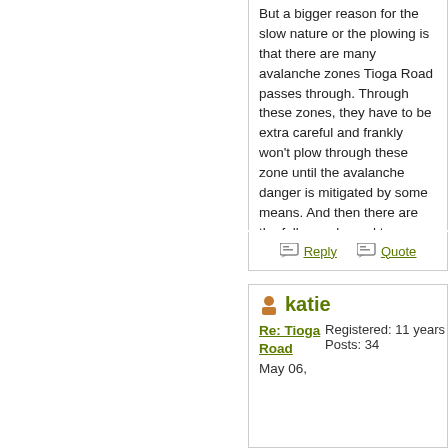But a bigger reason for the slow nature or the plowing is that there are many avalanche zones Tioga Road passes through. Through these zones, they have to be extra careful and frankly won't plow through these zone until the avalanche danger is mitigated by some means. And then there are the fallen rocks and trees they need to remove before a snow plow can remove all the remaining snow from the road itself.
Reply   Quote
katie
Re: Tioga Road
May 06,
Registered: 11 years
Posts: 34